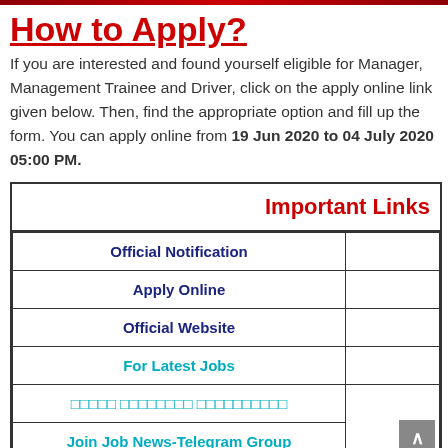How to Apply?
If you are interested and found yourself eligible for Manager, Management Trainee and Driver, click on the apply online link given below. Then, find the appropriate option and fill up the form. You can apply online from 19 Jun 2020 to 04 July 2020 05:00 PM.
|  | Important Links |
| --- | --- |
| Official Notification |  |
| Apply Online |  |
| Official Website |  |
| For Latest Jobs |  |
| □□□□□ □□□□□□□□ □□□□□□□□□□ |  |
| Join Job News-Telegram Group |  |